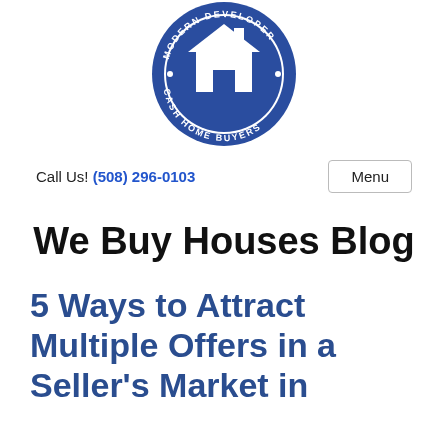[Figure (logo): Circular blue logo with a house icon in the center and text around the border reading 'MODERN DEVELOPER • CASH HOME BUYERS •']
Call Us! (508) 296-0103
Menu
We Buy Houses Blog
5 Ways to Attract Multiple Offers in a Seller's Market in